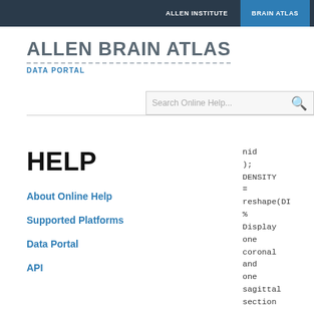ALLEN INSTITUTE  |  BRAIN ATLAS
ALLEN BRAIN ATLAS
DATA PORTAL
Search Online Help...
HELP
About Online Help
Supported Platforms
Data Portal
API
nid
);
DENSITY
=
reshape(DI
%
Display
one
coronal
and
one
sagittal
section